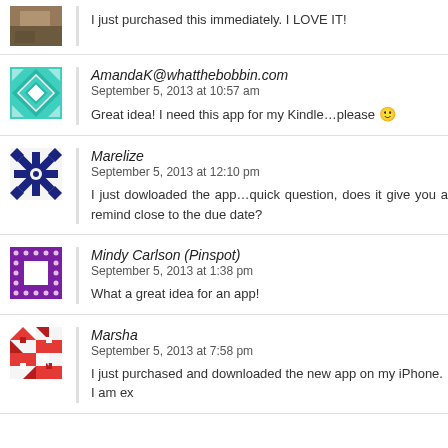[Figure (photo): User avatar thumbnail - photo of outdoor/nature scene]
I just purchased this immediately. I LOVE IT!
[Figure (illustration): Teal/green geometric quilt-pattern avatar for AmandaK@whatthebobbin.com]
AmandaK@whatthebobbin.com
September 5, 2013 at 10:57 am
Great idea! I need this app for my Kindle…please 🙂
[Figure (illustration): Dark blue geometric snowflake-pattern avatar for Marelize]
Marelize
September 5, 2013 at 12:10 pm
I just dowloaded the app…quick question, does it give you a remind close to the due date?
[Figure (illustration): Purple dotted border pattern avatar for Mindy Carlson (Pinspot)]
Mindy Carlson (Pinspot)
September 5, 2013 at 1:38 pm
What a great idea for an app!
[Figure (illustration): Red geometric pattern avatar for Marsha]
Marsha
September 5, 2013 at 7:58 pm
I just purchased and downloaded the new app on my iPhone. I am ex